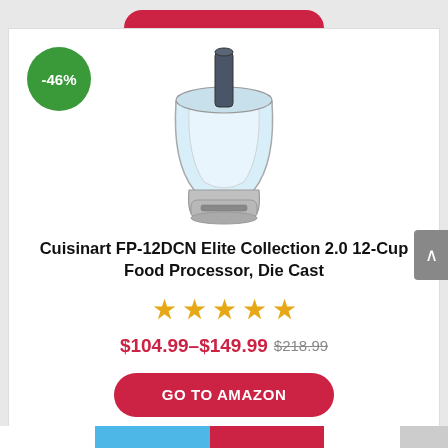[Figure (photo): Cuisinart FP-12DCN food processor product image, stainless steel with clear bowl]
-46%
Cuisinart FP-12DCN Elite Collection 2.0 12-Cup Food Processor, Die Cast
[Figure (other): 5 gold star rating]
$104.99–$149.99 $218.99
GO TO AMAZON